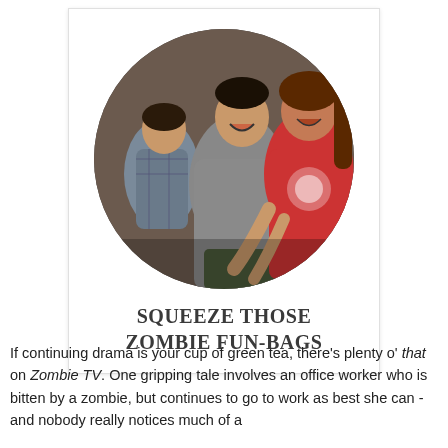[Figure (photo): Circular cropped photo of people in a dramatic or comedic scene — a man and a woman with exaggerated expressions, a third person in the background. The woman wears a red top.]
SQUEEZE THOSE ZOMBIE FUN-BAGS
If continuing drama is your cup of green tea, there's plenty o' that on Zombie TV. One gripping tale involves an office worker who is bitten by a zombie, but continues to go to work as best she can - and nobody really notices much of a